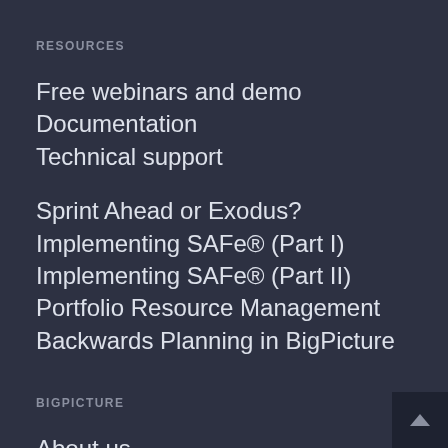RESOURCES
Free webinars and demo
Documentation
Technical support
Sprint Ahead or Exodus?
Implementing SAFe® (Part I)
Implementing SAFe® (Part II)
Portfolio Resource Management
Backwards Planning in BigPicture
BIGPICTURE
About us
Careers
Blog